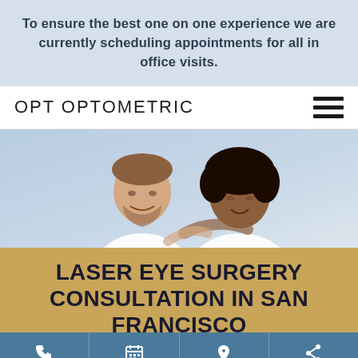To ensure the best one on one experience we are currently scheduling appointments for all in office visits.
OPT OPTOMETRIC
[Figure (photo): A smiling couple, a man and a woman, in white clothing against a light blue-grey background.]
LASER EYE SURGERY CONSULTATION IN SAN FRANCISCO
[Figure (infographic): Footer navigation bar with four icons: phone, calendar, location pin, and share.]